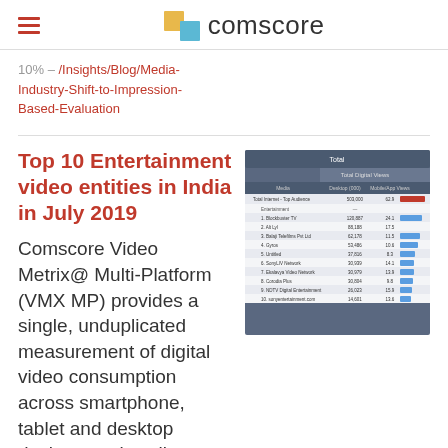comscore
10% – /Insights/Blog/Media-Industry-Shift-to-Impression-Based-Evaluation
Top 10 Entertainment video entities in India in July 2019
[Figure (screenshot): Screenshot of a Comscore data table showing top entertainment video entities in India, July 2019, with columns for media, total digital views, desktop views, and mobile views.]
Comscore Video Metrix@ Multi-Platform (VMX MP) provides a single, unduplicated measurement of digital video consumption across smartphone, tablet and desktop devices to give clients a deeper understanding